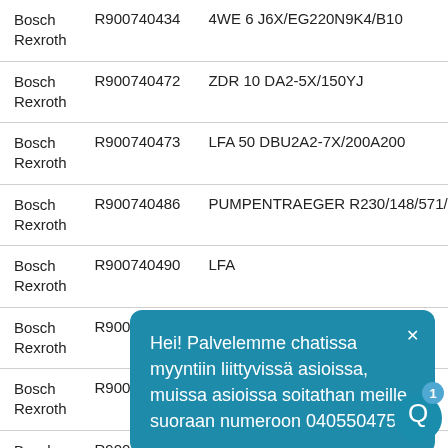| Manufacturer | Part Number | Description |
| --- | --- | --- |
| Bosch Rexroth | R900740434 | 4WE 6 J6X/EG220N9K4/B10 |
| Bosch Rexroth | R900740472 | ZDR 10 DA2-5X/150YJ |
| Bosch Rexroth | R900740473 | LFA 50 DBU2A2-7X/200A200 |
| Bosch Rexroth | R900740486 | PUMPENTRAEGER R230/148/571/TC |
| Bosch Rexroth | R900740490 | LFA… |
| Bosch Rexroth | R900740491 | DBW… |
| Bosch Rexroth | R900740493 | LFA… |
| Bosch Rexroth | R900740505 | 4WEH 22 J34-7X/6EG24N9ETS2…110 |
[Figure (screenshot): Chat popup in Finnish: 'Hei! Palvelemme chatissa myyntiin liittyvissä asioissa, muissa asioissa soitathan meille suoraan numeroon 0405504752!' with a close button and chat icon with badge '1'.]